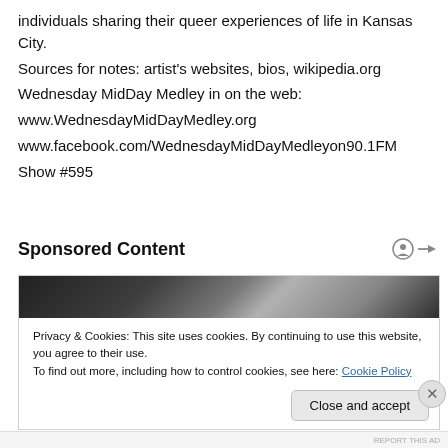individuals sharing their queer experiences of life in Kansas City.
Sources for notes: artist's websites, bios, wikipedia.org
Wednesday MidDay Medley in on the web:
www.WednesdayMidDayMedley.org
www.facebook.com/WednesdayMidDayMedleyon90.1FM
Show #595
Sponsored Content
[Figure (photo): Sponsored content advertisement image — dark background with partial newspaper/document visible]
Privacy & Cookies: This site uses cookies. By continuing to use this website, you agree to their use.
To find out more, including how to control cookies, see here: Cookie Policy
Close and accept